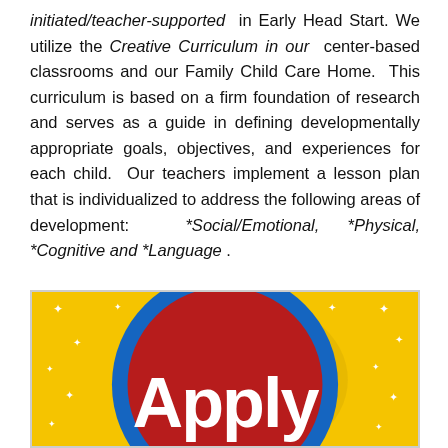initiated/teacher-supported in Early Head Start. We utilize the Creative Curriculum in our center-based classrooms and our Family Child Care Home. This curriculum is based on a firm foundation of research and serves as a guide in defining developmentally appropriate goals, objectives, and experiences for each child. Our teachers implement a lesson plan that is individualized to address the following areas of development: *Social/Emotional, *Physical, *Cognitive and *Language .
[Figure (illustration): Colorful 'Apply' graphic with yellow background with white stars, a large blue circle with a red circle inside, and bold white text reading 'Apply' in the center]